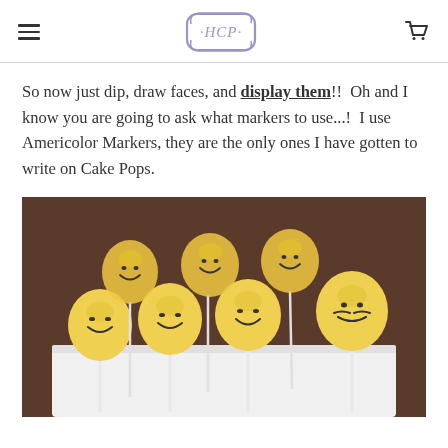HCP (logo)
So now just dip, draw faces, and display them!!  Oh and I know you are going to ask what markers to use...!  I use Americolor Markers, they are the only ones I have gotten to write on Cake Pops.
[Figure (photo): Photo of LEGO-head shaped cake pops on sticks displayed on a white stand, decorated with drawn faces using food markers, yellow coating]